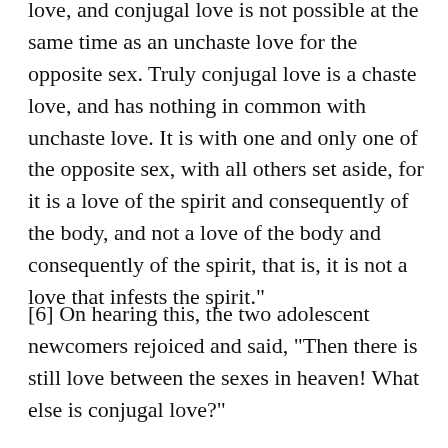love, and conjugal love is not possible at the same time as an unchaste love for the opposite sex. Truly conjugal love is a chaste love, and has nothing in common with unchaste love. It is with one and only one of the opposite sex, with all others set aside, for it is a love of the spirit and consequently of the body, and not a love of the body and consequently of the spirit, that is, it is not a love that infests the spirit."
[6] On hearing this, the two adolescent newcomers rejoiced and said, "Then there is still love between the sexes in heaven! What else is conjugal love?"